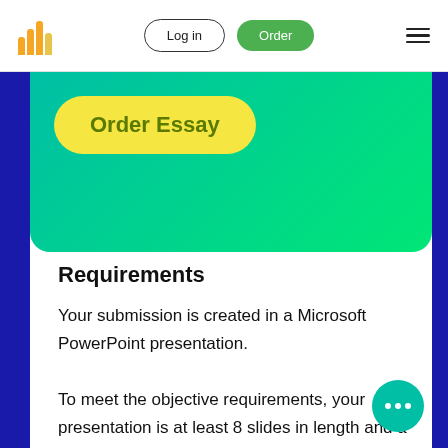Log in | Order
[Figure (screenshot): Green gradient hero banner with yellow 'Order Essay' button]
Requirements
Your submission is created in a Microsoft PowerPoint presentation.
To meet the objective requirements, your presentation is at least 8 slides in length and a minimum of 450 words.
Your submission includes specific examples